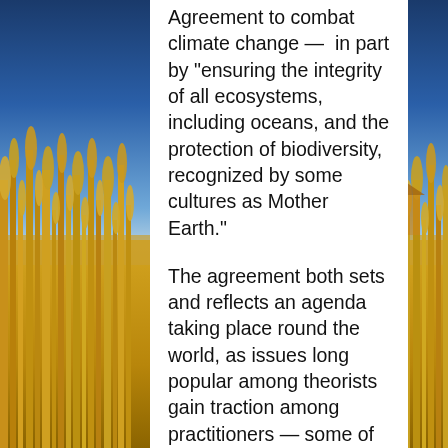[Figure (photo): Background photo of a golden wheat field under a blue sky, with a farm building visible in the right background. Left and right edges show wheat stalks prominently. A dark blue gradient is visible at the top right.]
Agreement to combat climate change —  in part by "ensuring the integrity of all ecosystems, including oceans, and the protection of biodiversity, recognized by some cultures as Mother Earth."

The agreement both sets and reflects an agenda taking place round the world, as issues long popular among theorists gain traction among practitioners — some of whom point to Article 5 of the Paris Agreement, the forest clause, which states, "Parties should take action to conserve and enhance, as appropriate, sinks and